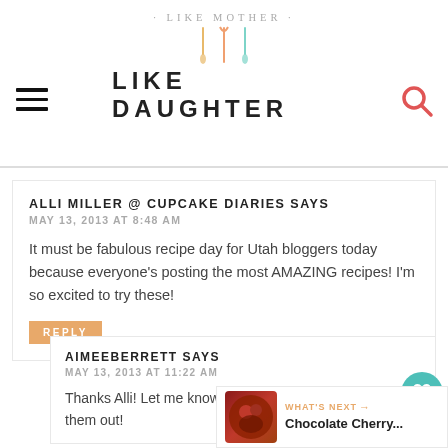· LIKE MOTHER · LIKE DAUGHTER
ALLI MILLER @ CUPCAKE DIARIES SAYS
MAY 13, 2013 AT 8:48 AM

It must be fabulous recipe day for Utah bloggers today because everyone's posting the most AMAZING recipes! I'm so excited to try these!
AIMEEBERRETT SAYS
MAY 13, 2013 AT 11:22 AM

Thanks Alli! Let me know what you think when you try them out!
[Figure (other): What's Next thumbnail showing Chocolate Cherry recipe]
WHAT'S NEXT → Chocolate Cherry...